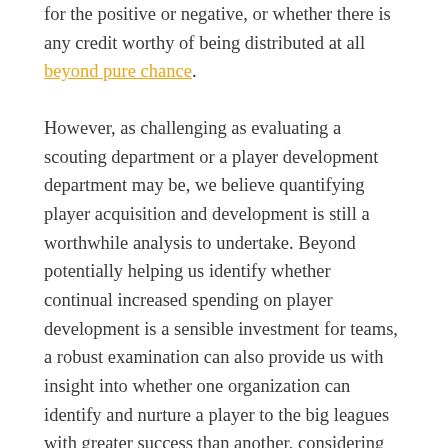for the positive or negative, or whether there is any credit worthy of being distributed at all beyond pure chance.
However, as challenging as evaluating a scouting department or a player development department may be, we believe quantifying player acquisition and development is still a worthwhile analysis to undertake. Beyond potentially helping us identify whether continual increased spending on player development is a sensible investment for teams, a robust examination can also provide us with insight into whether one organization can identify and nurture a player to the big leagues with greater success than another, considering all else equal.
Is identifying and developing young baseball players